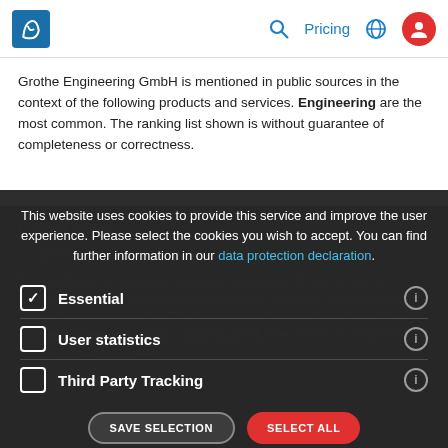Navigation bar with logo, Pricing, search, globe, user icons
Grothe Engineering GmbH is mentioned in public sources in the context of the following products and services. Engineering are the most common. The ranking list shown is without guarantee of completeness or correctness.
This website uses cookies to provide this service and improve the user experience. Please select the cookies you wish to accept. You can find further information in our data protection declaration.
Essential (checked)
User statistics
Third Party Tracking
The key figures on balance sheet total, revenue, profit and number of employees were generated by a fully automatic extraction from published annual financial statements. The last published balance sheet total of the Grothe Engineering GmbH is 2019 at 20 k €. The difference compared to the previous year is -16.6%